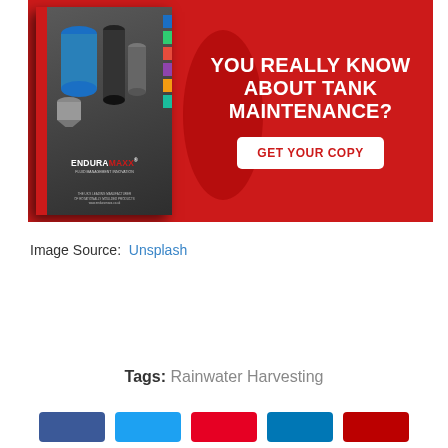[Figure (photo): Advertisement banner for EnduraMaxx fluid management guide. Left side shows a book/brochure cover with industrial tanks. Right red side reads 'YOU REALLY KNOW ABOUT TANK MAINTENANCE?' with a 'GET YOUR COPY' button.]
Image Source: Unsplash
Tags: Rainwater Harvesting
[Figure (illustration): Row of social media share buttons: Facebook (blue), Twitter (light blue), Pinterest (red), LinkedIn (blue), Email (red)]